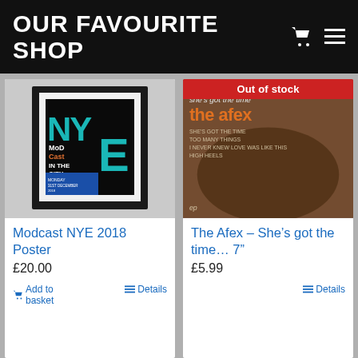OUR FAVOURITE SHOP
[Figure (photo): Framed NYE Modcast in the City 2018 event poster with teal NYE letters and orange/white text]
Modcast NYE 2018 Poster
£20.00
Add to basket  Details
[Figure (photo): The Afex She's got the time 7 inch vinyl record cover showing the band in a vintage sepia photo with red Out of stock banner]
The Afex – She’s got the time… 7”
£5.99
Details